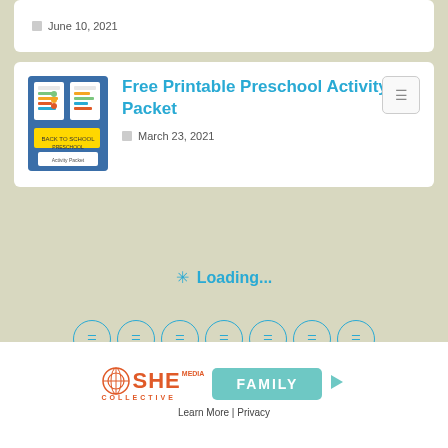June 10, 2021
Free Printable Preschool Activity Packet
March 23, 2021
Loading...
[Figure (other): SHE Media Collective Family advertisement banner with Learn More and Privacy links]